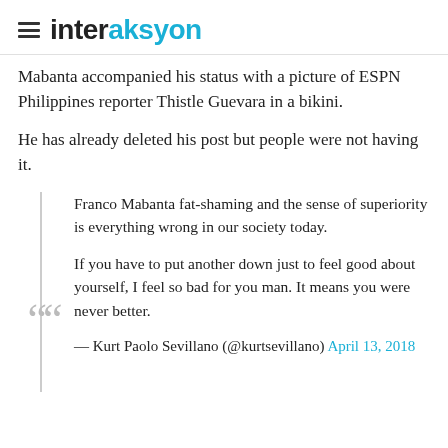interaksyon
Mabanta accompanied his status with a picture of ESPN Philippines reporter Thistle Guevara in a bikini.
He has already deleted his post but people were not having it.
Franco Mabanta fat-shaming and the sense of superiority is everything wrong in our society today.

If you have to put another down just to feel good about yourself, I feel so bad for you man. It means you were never better.

— Kurt Paolo Sevillano (@kurtsevillano) April 13, 2018